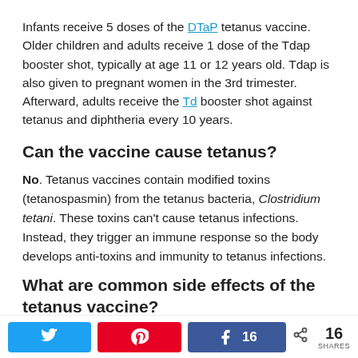Infants receive 5 doses of the DTaP tetanus vaccine. Older children and adults receive 1 dose of the Tdap booster shot, typically at age 11 or 12 years old. Tdap is also given to pregnant women in the 3rd trimester. Afterward, adults receive the Td booster shot against tetanus and diphtheria every 10 years.
Can the vaccine cause tetanus?
No. Tetanus vaccines contain modified toxins (tetanospasmin) from the tetanus bacteria, Clostridium tetani. These toxins can't cause tetanus infections. Instead, they trigger an immune response so the body develops anti-toxins and immunity to tetanus infections.
What are common side effects of the tetanus vaccine?